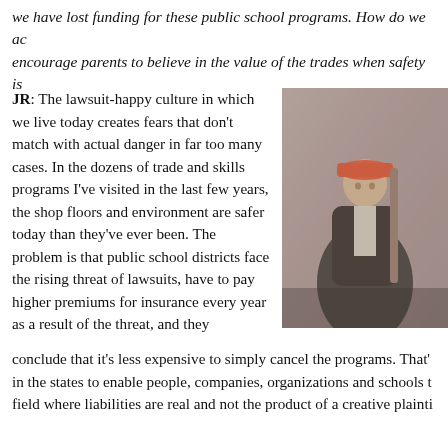we have lost funding for these public school programs. How do we ac encourage parents to believe in the value of the trades when safety is
JR: The lawsuit-happy culture in which we live today creates fears that don't match with actual danger in far too many cases. In the dozens of trade and skills programs I've visited in the last few years, the shop floors and environment are safer today than they've ever been. The problem is that public school districts face the rising threat of lawsuits, have to pay higher premiums for insurance every year as a result of the threat, and they conclude that it's less expensive to simply cancel the programs. That's in the states to enable people, companies, organizations and schools to field where liabilities are real and not the product of a creative plainti
[Figure (photo): Person wearing a hard hat and work jacket, holding what appears to be a tool or instrument, photographed in a workshop or industrial setting.]
TiC: What is the importance of having shop classes in the public scho